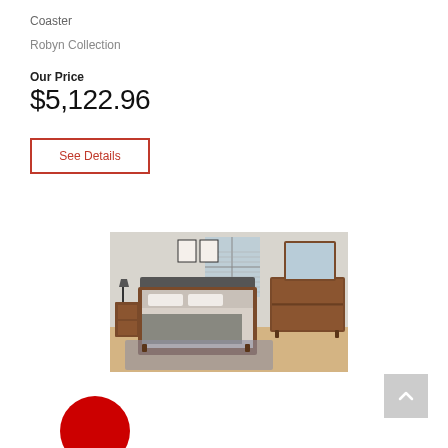Coaster
Robyn Collection
Our Price
$5,122.96
See Details
[Figure (photo): Mid-century modern bedroom furniture set including a bed with dark upholstered headboard, walnut-finish wood frame, matching nightstand with lamp, dresser, and mirror, staged in a bright room with large windows.]
[Figure (other): Scroll-to-top button (light gray square with white upward chevron icon)]
[Figure (other): Partially visible red circular logo/badge at bottom left]